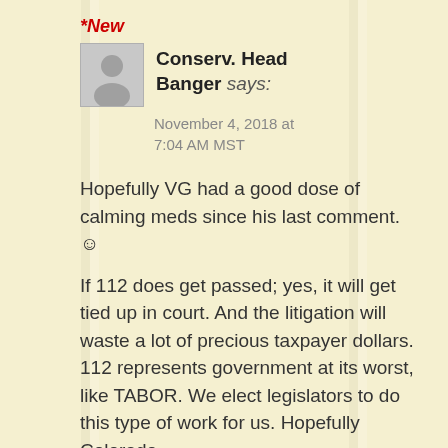*New
Conserv. Head Banger says:
November 4, 2018 at 7:04 AM MST
Hopefully VG had a good dose of calming meds since his last comment. ☺
If 112 does get passed; yes, it will get tied up in court. And the litigation will waste a lot of precious taxpayer dollars. 112 represents government at its worst, like TABOR. We elect legislators to do this type of work for us. Hopefully Colorado